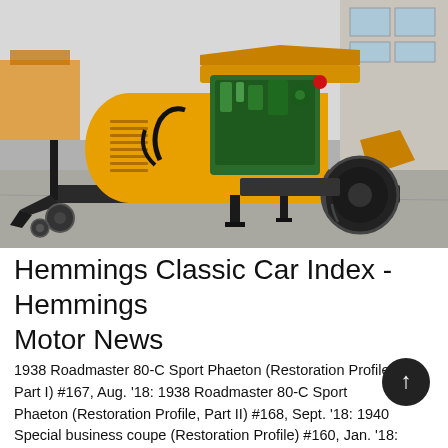[Figure (photo): A yellow industrial concrete pump machine on a wheeled trailer, with a green engine visible under an open hood, parked on a concrete floor in an industrial setting.]
Hemmings Classic Car Index - Hemmings Motor News
1938 Roadmaster 80-C Sport Phaeton (Restoration Profile, Part I) #167, Aug. '18: 1938 Roadmaster 80-C Sport Phaeton (Restoration Profile, Part II) #168, Sept. '18: 1940 Special business coupe (Restoration Profile) #160, Jan. '18: 1940 Special (Driveable Dream) #133, Oct. 1941 Special Model 4 (Series ...